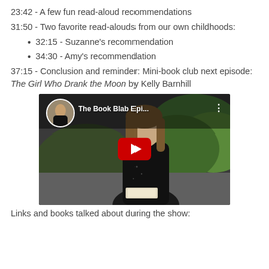23:42 - A few fun read-aloud recommendations
31:50 - Two favorite read-alouds from our own childhoods:
32:15 - Suzanne's recommendation
34:30 - Amy's recommendation
37:15 - Conclusion and reminder: Mini-book club next episode: The Girl Who Drank the Moon by Kelly Barnhill
[Figure (screenshot): YouTube video thumbnail showing a woman with long brown hair holding books, wearing a black top, outdoors with green foliage background. Video title reads 'The Book Blab Epi...' with a small circular avatar in top-left and YouTube play button overlay.]
Links and books talked about during the show: